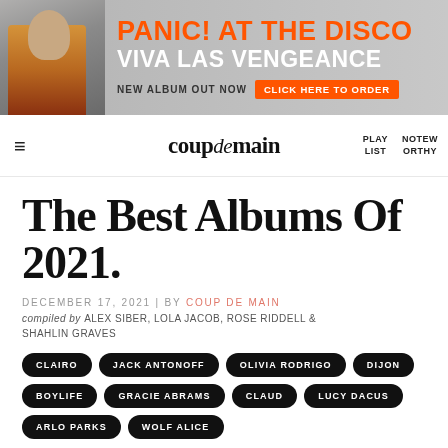[Figure (illustration): Panic! At The Disco advertisement banner featuring a person in an orange jacket on the left, with orange text reading 'PANIC! AT THE DISCO', white text 'VIVA LAS VENGEANCE', 'NEW ALBUM OUT NOW' and an orange button 'CLICK HERE TO ORDER']
coup de main | PLAY LIST | NOTEWORTHY
The Best Albums Of 2021.
DECEMBER 17, 2021 | by COUP DE MAIN
compiled by ALEX SIBER, LOLA JACOB, ROSE RIDDELL & SHAHLIN GRAVES
CLAIRO
JACK ANTONOFF
OLIVIA RODRIGO
DIJON
BOYLIFE
GRACIE ABRAMS
CLAUD
LUCY DACUS
ARLO PARKS
WOLF ALICE